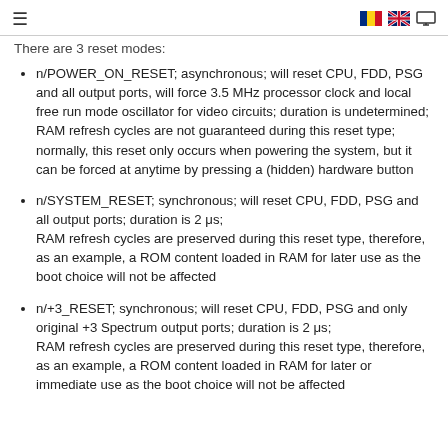≡  [RO flag] [GB flag] [monitor icon]
There are 3 reset modes:
n/POWER_ON_RESET; asynchronous; will reset CPU, FDD, PSG and all output ports, will force 3.5 MHz processor clock and local free run mode oscillator for video circuits; duration is undetermined; RAM refresh cycles are not guaranteed during this reset type; normally, this reset only occurs when powering the system, but it can be forced at anytime by pressing a (hidden) hardware button
n/SYSTEM_RESET; synchronous; will reset CPU, FDD, PSG and all output ports; duration is 2 μs; RAM refresh cycles are preserved during this reset type, therefore, as an example, a ROM content loaded in RAM for later use as the boot choice will not be affected
n/+3_RESET; synchronous; will reset CPU, FDD, PSG and only original +3 Spectrum output ports; duration is 2 μs; RAM refresh cycles are preserved during this reset type, therefore, as an example, a ROM content loaded in RAM for later or immediate use as the boot choice will not be affected